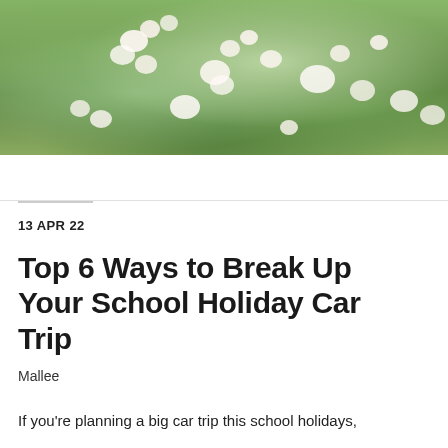[Figure (photo): Outdoor photo of flowering shrubs and greenery with white blossoms against green foliage and grass]
13 APR 22
Top 6 Ways to Break Up Your School Holiday Car Trip
Mallee
If you're planning a big car trip this school holidays,